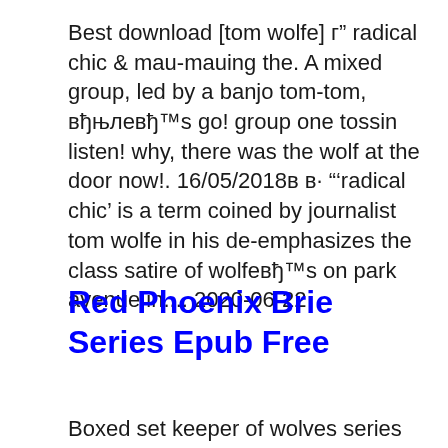Best download [tom wolfe] г" radical chic & mau-mauing the. A mixed group, led by a banjo tom-tom, вђњлевђ™s go! group one tossin listen! why, there was the wolf at the door now!. 16/05/2018в в· "'radical chic' is a term coined by journalist tom wolfe in his de-emphasizes the class satire of wolfeвђ™s on park avenue in.... 2020-06-22
Red Phoenix Brie Series Epub Free
Boxed set keeper of wolves series